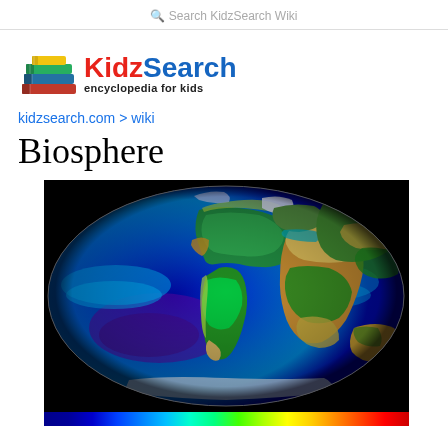Search KidzSearch Wiki
[Figure (logo): KidzSearch encyclopedia for kids logo with colorful stacked books icon]
kidzsearch.com > wiki
Biosphere
[Figure (map): False-color satellite map of Earth showing biosphere productivity — oceans in blue/purple tones, landmasses in green/yellow/orange, displayed in an oval Mollweide projection on a black background. A color scale bar is visible at the bottom.]